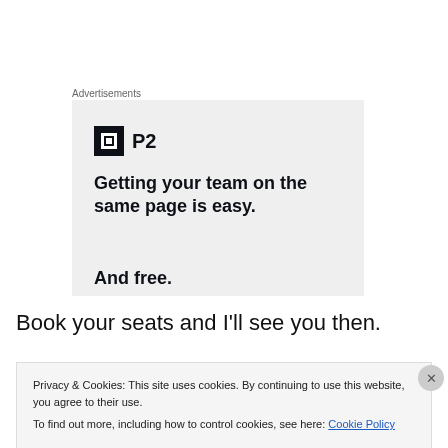Advertisements
[Figure (screenshot): P2 advertisement banner with logo and text: Getting your team on the same page is easy. And free.]
Book your seats and I'll see you then.
Privacy & Cookies: This site uses cookies. By continuing to use this website, you agree to their use.
To find out more, including how to control cookies, see here: Cookie Policy